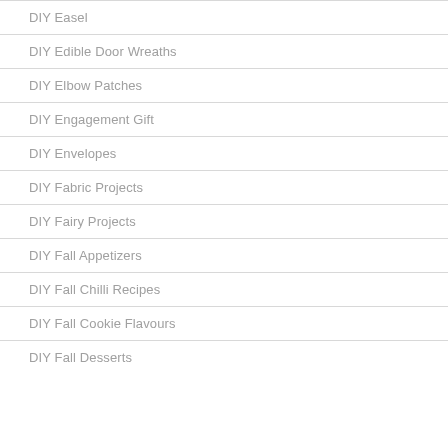DIY Easel
DIY Edible Door Wreaths
DIY Elbow Patches
DIY Engagement Gift
DIY Envelopes
DIY Fabric Projects
DIY Fairy Projects
DIY Fall Appetizers
DIY Fall Chilli Recipes
DIY Fall Cookie Flavours
DIY Fall Desserts